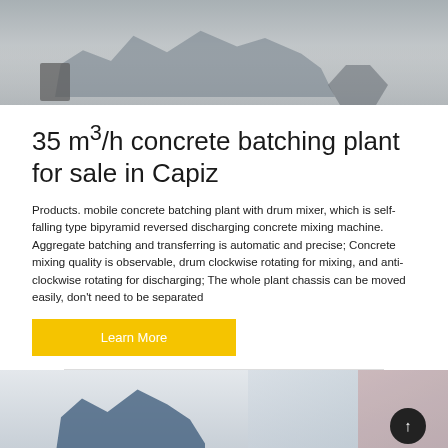[Figure (photo): Top portion of a concrete batching plant machine on a light grey background, showing metal frame and mechanical components.]
35 m³/h concrete batching plant for sale in Capiz
Products. mobile concrete batching plant with drum mixer, which is self-falling type bipyramid reversed discharging concrete mixing machine. Aggregate batching and transferring is automatic and precise; Concrete mixing quality is observable, drum clockwise rotating for mixing, and anti-clockwise rotating for discharging; The whole plant chassis can be moved easily, don't need to be separated
Learn More
[Figure (photo): Bottom portion showing another concrete batching plant, with blue and red structural elements, partially cropped.]